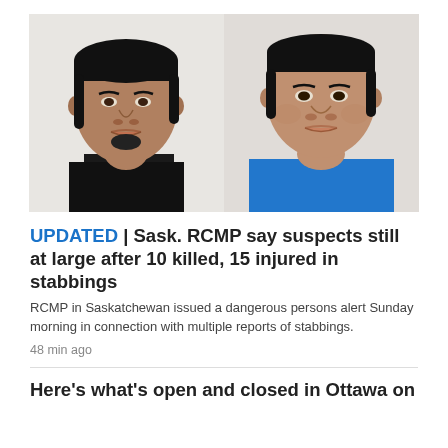[Figure (photo): Two mugshot photos side by side. Left: a young man with dark hair and goatee wearing a black shirt, against a light wall background. Right: a slightly older man with short dark hair wearing a blue shirt, against a light background.]
UPDATED | Sask. RCMP say suspects still at large after 10 killed, 15 injured in stabbings
RCMP in Saskatchewan issued a dangerous persons alert Sunday morning in connection with multiple reports of stabbings.
48 min ago
Here's what's open and closed in Ottawa on